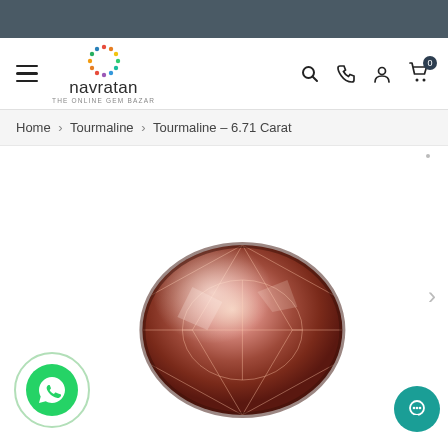[Figure (screenshot): Dark teal/grey top banner strip]
navratan - THE ONLINE GEM BAZAR - navigation header with hamburger menu, logo, search, phone, account, and cart icons
Home > Tourmaline > Tourmaline – 6.71 Carat
[Figure (photo): Oval faceted tourmaline gemstone in pinkish-red/brown color, photographed on white background]